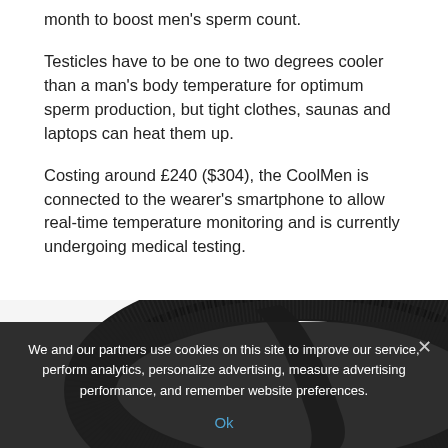month to boost men's sperm count.
Testicles have to be one to two degrees cooler than a man's body temperature for optimum sperm production, but tight clothes, saunas and laptops can heat them up.
Costing around £240 ($304), the CoolMen is connected to the wearer's smartphone to allow real-time temperature monitoring and is currently undergoing medical testing.
[Figure (photo): Close-up photo of a dark black ring-shaped wearable device (the CoolMen) against a white background, partially visible at the bottom of the article area.]
We and our partners use cookies on this site to improve our service, perform analytics, personalize advertising, measure advertising performance, and remember website preferences.
Ok